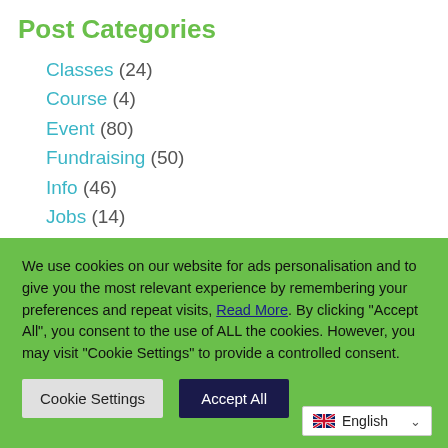Post Categories
Classes (24)
Course (4)
Event (80)
Fundraising (50)
Info (46)
Jobs (14)
News (179)
Support (50)
Training (60)
We use cookies on our website for ads personalisation and to give you the most relevant experience by remembering your preferences and repeat visits, Read More. By clicking "Accept All", you consent to the use of ALL the cookies. However, you may visit "Cookie Settings" to provide a controlled consent.